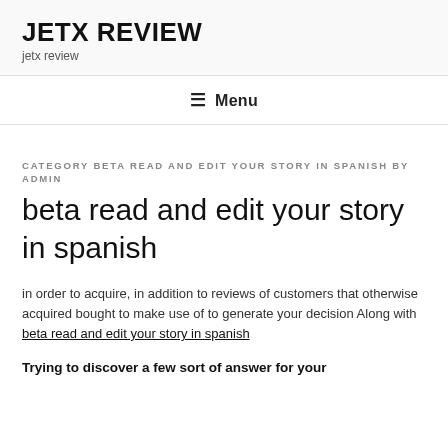JETX REVIEW
jetx review
Menu
CATEGORY BETA READ AND EDIT YOUR STORY IN SPANISH BY ADMIN
beta read and edit your story in spanish
in order to acquire, in addition to reviews of customers that otherwise acquired bought to make use of to generate your decision Along with beta read and edit your story in spanish
Trying to discover a few sort of answer for your